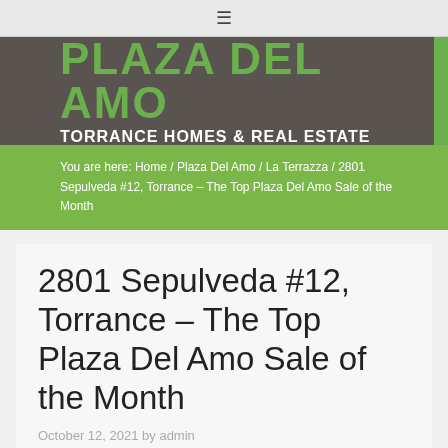≡
[Figure (logo): Plaza Del Amo - Torrance Homes & Real Estate logo with green text on dark brown/gray background]
You are here: Home / Plaza Del Amo / La Terrazza / 2801 Sepulveda #12, Torrance – The Top Plaza Del Amo Sale of the Month
2801 Sepulveda #12, Torrance – The Top Plaza Del Amo Sale of the Month
October 12, 2021 by admin